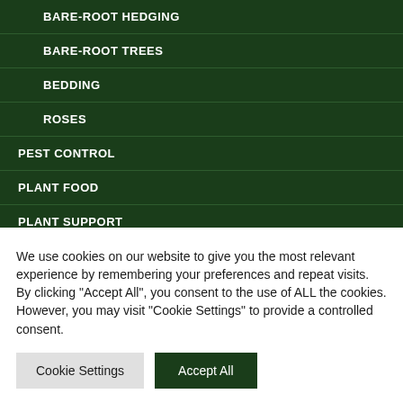BARE-ROOT HEDGING
BARE-ROOT TREES
BEDDING
ROSES
PEST CONTROL
PLANT FOOD
PLANT SUPPORT
We use cookies on our website to give you the most relevant experience by remembering your preferences and repeat visits. By clicking “Accept All”, you consent to the use of ALL the cookies. However, you may visit "Cookie Settings" to provide a controlled consent.
Cookie Settings | Accept All